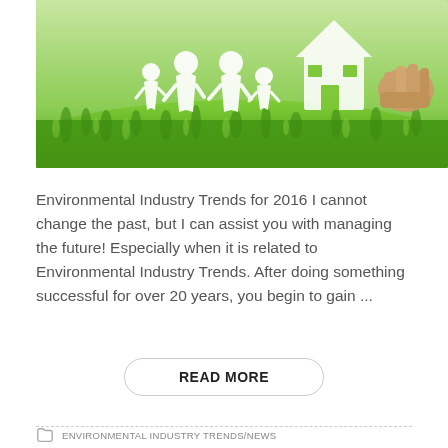[Figure (photo): Photo of a paper cut-out family holding hands on green grass, with a hand holding a paper house cutout on the right side]
Environmental Industry Trends for 2016 I cannot change the past, but I can assist you with managing the future!  Especially when it is related to Environmental Industry Trends.  After doing something successful for over 20 years, you begin to gain ...
READ MORE
ENVIRONMENTAL INDUSTRY TRENDS/NEWS
ASBESTOS, ASBESTOS TEST, DIY ASBESTOS TEST, DIY E-COLI TEST, DIY ECOLI TEST, DIY INDOOR AIR QUALITY TEST, DIY